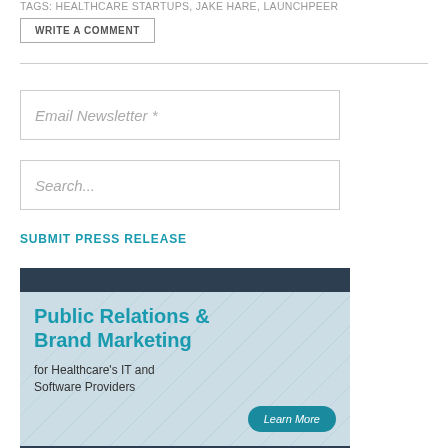TAGS: HEALTHCARE STARTUPS, JAKE HARE, LAUNCHPEER
WRITE A COMMENT
Email Newsletter *
Search...
SUBMIT PRESS RELEASE
[Figure (illustration): Advertisement banner for Public Relations & Brand Marketing for Healthcare's IT and Software Providers, with a Learn More button, dark header bar, and light blue background with grid/network lines.]